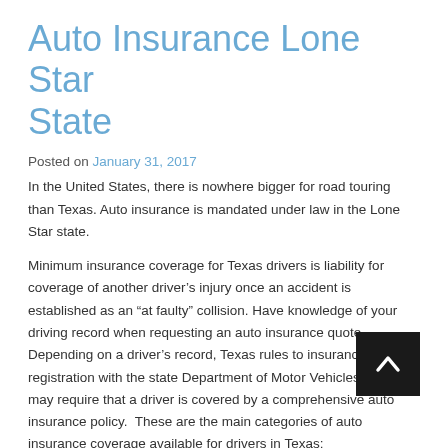Auto Insurance Lone Star State
Posted on January 31, 2017
In the United States, there is nowhere bigger for road touring than Texas. Auto insurance is mandated under law in the Lone Star state.
Minimum insurance coverage for Texas drivers is liability for coverage of another driver’s injury once an accident is established as an “at faulty” collision. Have knowledge of your driving record when requesting an auto insurance quote. Depending on a driver’s record, Texas rules to insurance registration with the state Department of Motor Vehicles (DMV) may require that a driver is covered by a comprehensive auto insurance policy.  These are the main categories of auto insurance coverage available for drivers in Texas:
Liability Coverage – basic auto insurance every driver must carry in Texas. Liability insurance is mandated under law, and covers injury